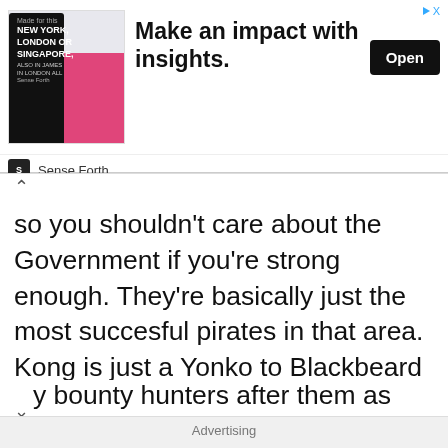[Figure (screenshot): Advertisement banner: image of person with text 'NEW YORK, LONDON OR SINGAPORE,' on left; 'Make an impact with insights.' headline in center; 'Open' button on right; 'Sense Forth' branding below. Skip controls in top-right.]
so you shouldn't care about the Government if you're strong enough. They're basically just the most succesful pirates in that area. Kong is just a Yonko to Blackbeard and the Marines are the Commanders. Imagine if Blackbeard puts out Wanted Posters on Government Officials. He would probably have just as y bounty hunters after them as there are bounty
Advertising